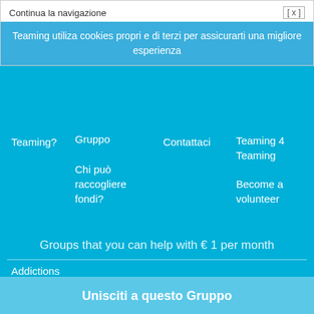Continua la navigazione
[ x ]
Teaming utiliza cookies propri e di terzi per assicurarti una migliore esperienza
Teaming?
Gruppo
Chi può raccogliere fondi?
Contattaci
Teaming 4 Teaming
Become a volunteer
Groups that you can help with € 1 per month
Addictions
Patient care
International cooperation
Unisciti a questo Gruppo